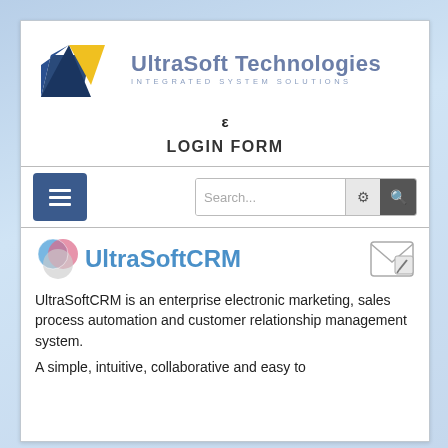[Figure (logo): UltraSoft Technologies logo with blue and yellow triangular graphic and text 'UltraSoft Technologies' with subtitle 'INTEGRATED SYSTEM SOLUTIONS']
ε
LOGIN FORM
[Figure (screenshot): Navigation bar with hamburger menu button and search bar with gear and search icons]
[Figure (logo): UltraSoftCRM logo with colorful globe sphere icon and blue 'UltraSoftCRM' text, with an envelope/mail icon on the right]
UltraSoftCRM is an enterprise electronic marketing, sales process automation and customer relationship management system.
A simple, intuitive, collaborative and easy to